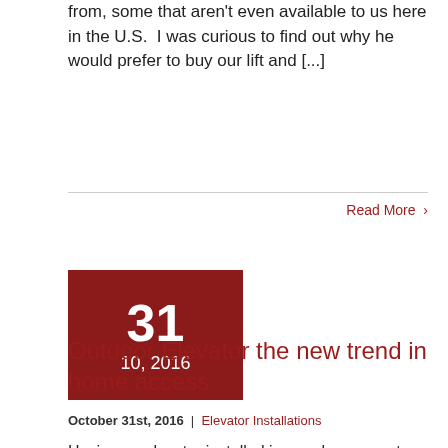from, some that aren't even available to us here in the U.S.  I was curious to find out why he would prefer to buy our lift and [...]
Read More >
[Figure (other): Date badge box with dark red background showing '31' in large white bold text and '10, 2016' below in smaller white text]
Outdoor Elevator the new trend in home access
October 31st, 2016  |  Elevator Installations
Having an elevator installed in your home use to be